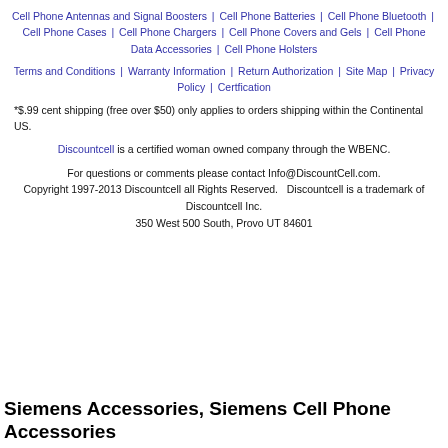Cell Phone Antennas and Signal Boosters | Cell Phone Batteries | Cell Phone Bluetooth | Cell Phone Cases | Cell Phone Chargers | Cell Phone Covers and Gels | Cell Phone Data Accessories | Cell Phone Holsters
Terms and Conditions | Warranty Information | Return Authorization | Site Map | Privacy Policy | Certfication
*$.99 cent shipping (free over $50) only applies to orders shipping within the Continental US.
Discountcell is a certified woman owned company through the WBENC.
For questions or comments please contact Info@DiscountCell.com.
Copyright 1997-2013 Discountcell all Rights Reserved.   Discountcell is a trademark of Discountcell Inc.
350 West 500 South, Provo UT 84601
Siemens Accessories, Siemens Cell Phone Accessories